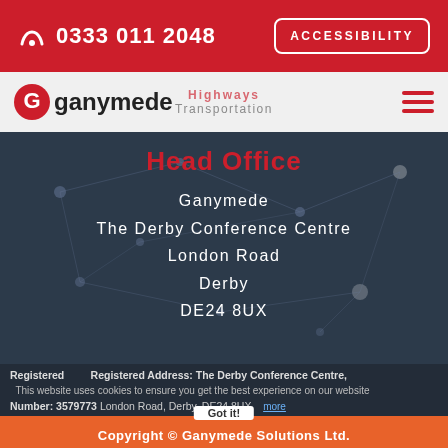0333 011 2048  ACCESSIBILITY
[Figure (logo): Ganymede logo with red G icon and 'ganymede' wordmark, with Highways and Transportation navigation overlay and hamburger menu]
Head Office
Ganymede
The Derby Conference Centre
London Road
Derby
DE24 8UX
Registered  Registered Address: The Derby Conference Centre, This website uses cookies to ensure you get the best experience on our website Number: 3579773 London Road, Derby, DE24 8UX  more
Got it!  Copyright © Ganymede Solutions Ltd.